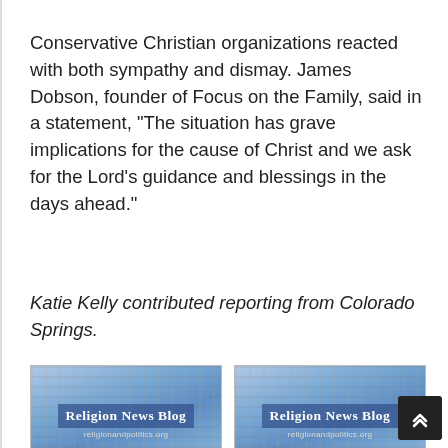Conservative Christian organizations reacted with both sympathy and dismay. James Dobson, founder of Focus on the Family, said in a statement, “The situation has grave implications for the cause of Christ and we ask for the Lord’s guidance and blessings in the days ahead.”
Katie Kelly contributed reporting from Colorado Springs.
[Figure (photo): Religion News Blog thumbnail image showing newspapers, with overlay text 'Religion News Blog' and URL 'religionandpolitics.org']
Ted Haggard donors sent
[Figure (photo): Religion News Blog thumbnail image showing newspapers, with overlay text 'Religion News Blog' and URL 'religionandpolitics.org']
Ted Haggard confesses